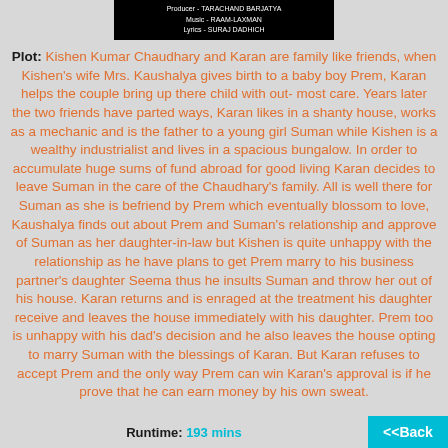[Figure (other): Movie credits header on black background: Producer - TARACHAND BARJATYA, Music - RAAM-LAXMAN, Lyrics - SURAJ DADHICH]
Plot: Kishen Kumar Chaudhary and Karan are family like friends, when Kishen's wife Mrs. Kaushalya gives birth to a baby boy Prem, Karan helps the couple bring up there child with out- most care. Years later the two friends have parted ways, Karan likes in a shanty house, works as a mechanic and is the father to a young girl Suman while Kishen is a wealthy industrialist and lives in a spacious bungalow. In order to accumulate huge sums of fund abroad for good living Karan decides to leave Suman in the care of the Chaudhary's family. All is well there for Suman as she is befriend by Prem which eventually blossom to love, Kaushalya finds out about Prem and Suman's relationship and approve of Suman as her daughter-in-law but Kishen is quite unhappy with the relationship as he have plans to get Prem marry to his business partner's daughter Seema thus he insults Suman and throw her out of his house. Karan returns and is enraged at the treatment his daughter receive and leaves the house immediately with his daughter. Prem too is unhappy with his dad's decision and he also leaves the house opting to marry Suman with the blessings of Karan. But Karan refuses to accept Prem and the only way Prem can win Karan's approval is if he prove that he can earn money by his own sweat.
Runtime: 193 mins